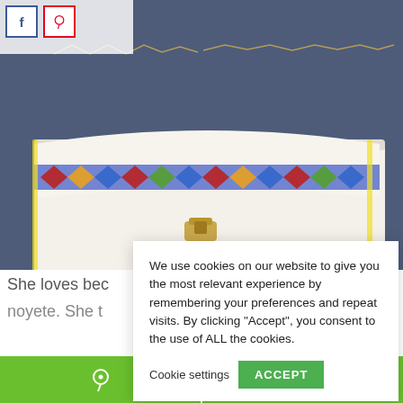[Figure (photo): White envelope clutch purse with colorful embroidered pattern along the flap and a gold chain strap, displayed on a dark blue textured background.]
She loves bec
noyete. She t
We use cookies on our website to give you the most relevant experience by remembering your preferences and repeat visits. By clicking “Accept”, you consent to the use of ALL the cookies.
Cookie settings
ACCEPT